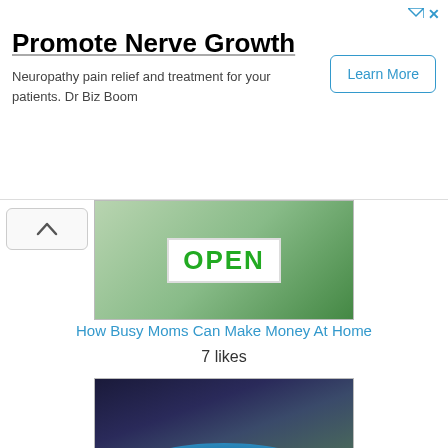[Figure (infographic): Ad banner with title 'Promote Nerve Growth', body text about neuropathy, and a Learn More button]
Promote Nerve Growth
Neuropathy pain relief and treatment for your patients. Dr Biz Boom
[Figure (photo): Woman in green top holding an OPEN sign]
How Busy Moms Can Make Money At Home
7 likes
[Figure (photo): Night photo of Spanish-style villa with swimming pool lit up]
Buy & Size a Pool Pump for Your Swimming Pool
7 likes
view all howtos by archi